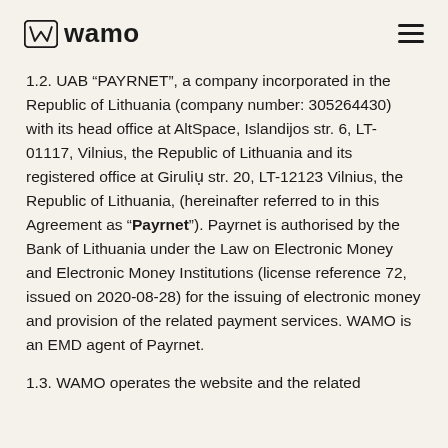wamo
1.2. UAB “PAYRNET”, a company incorporated in the Republic of Lithuania (company number: 305264430) with its head office at AltSpace, Islandijos str. 6, LT-01117, Vilnius, the Republic of Lithuania and its registered office at Giruliụ str. 20, LT-12123 Vilnius, the Republic of Lithuania, (hereinafter referred to in this Agreement as “Payrnet”). Payrnet is authorised by the Bank of Lithuania under the Law on Electronic Money and Electronic Money Institutions (license reference 72, issued on 2020-08-28) for the issuing of electronic money and provision of the related payment services. WAMO is an EMD agent of Payrnet.
1.3. WAMO operates the website and the related